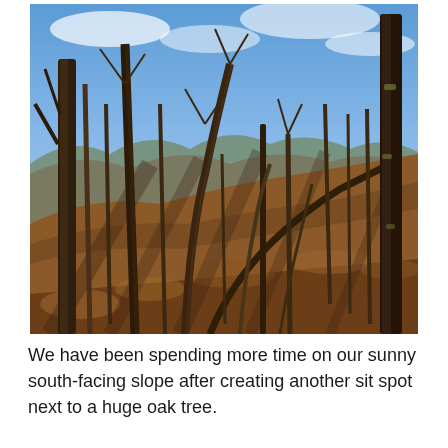[Figure (photo): Outdoor photograph of a south-facing wooded slope in winter or late autumn. Bare deciduous trees with no leaves stand on a hillside covered in dry brown leaf litter. The sky is blue with some clouds visible through the tree branches. Sunlight creates diagonal shadows across the leaf-covered slope. Multiple thin tree trunks and some leaning saplings are visible throughout the scene.]
We have been spending more time on our sunny south-facing slope after creating another sit spot next to a huge oak tree.